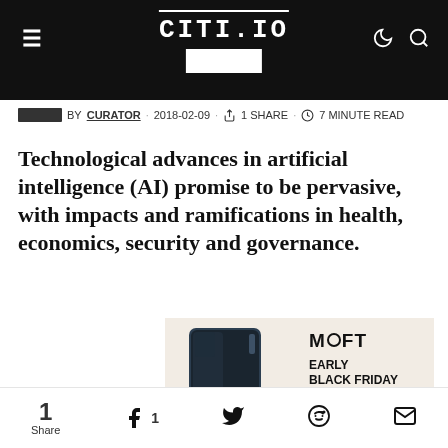CITI.IO
CITI.IO BY CURATOR · 2018-02-09 · 1 SHARE · 7 MINUTE READ
Technological advances in artificial intelligence (AI) promise to be pervasive, with impacts and ramifications in health, economics, security and governance.
[Figure (infographic): MOFT Early Black Friday SALE advertisement with phone stand product image on beige background]
1 Share | Facebook 1 | Twitter | Reddit | Email